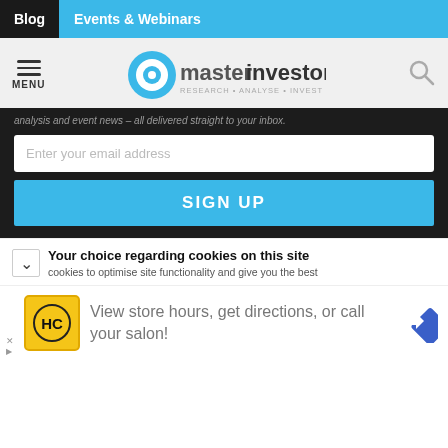Blog | Events & Webinars
[Figure (logo): Master Investor logo with circular eye icon and text 'masterinvestor RESEARCH · ANALYSE · INVEST']
analysis and event news – all delivered straight to your inbox.
Enter your email address
SIGN UP
Your choice regarding cookies on this site
cookies to optimise site functionality and give you the best
View store hours, get directions, or call your salon!